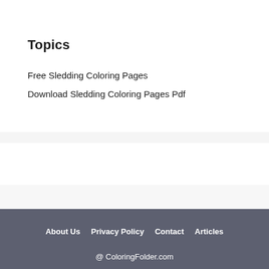Topics
Free Sledding Coloring Pages
Download Sledding Coloring Pages Pdf
About Us  Privacy Policy  Contact  Articles  @ ColoringFolder.com